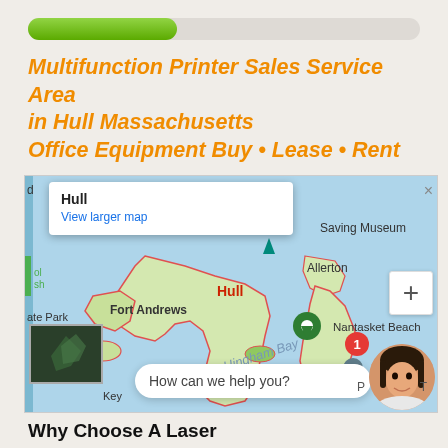Multifunction Printer Sales Service Area in Hull Massachusetts Office Equipment Buy • Lease • Rent
[Figure (map): Google Map showing Hull, Massachusetts area including Fort Andrews, Allerton, Nantasket Beach, Hingham Bay. Includes map popup with 'Hull' label and 'View larger map' link, a chat bubble saying 'How can we help you?', a female avatar, a notification badge showing 1, and zoom controls.]
Why Choose A Laser